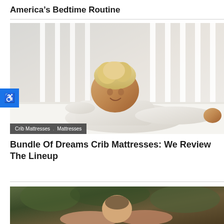America's Bedtime Routine
[Figure (photo): A smiling toddler with curly blonde hair lying in a white crib, wearing a cream-colored knit outfit. The crib bars are visible in the background.]
Crib Mattresses . Mattresses
Bundle Of Dreams Crib Mattresses: We Review The Lineup
[Figure (photo): A newborn baby being held by adult hands outdoors with trees in the background.]